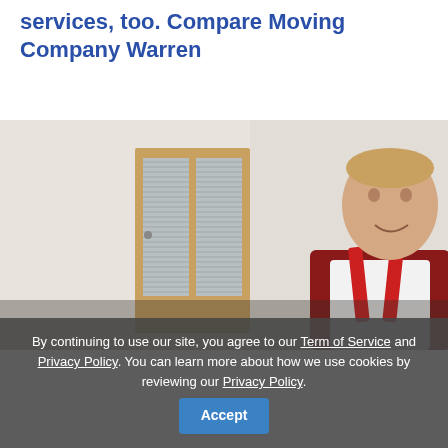services, too. Compare Moving Company Warren
[Figure (photo): A smiling male mover wearing red overalls and a white shirt, standing in a room with a door that has slatted windows, beige walls in the background.]
By continuing to use our site, you agree to our Term of Service and Privacy Policy. You can learn more about how we use cookies by reviewing our Privacy Policy.